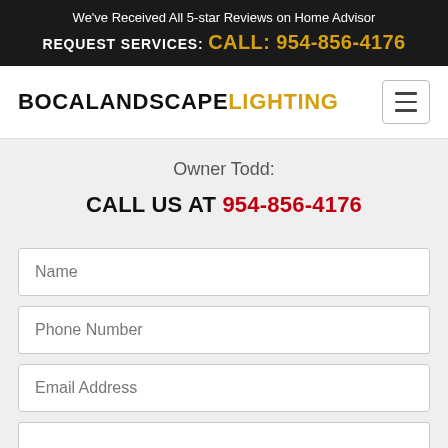We've Received All 5-star Reviews on Home Advisor
REQUEST SERVICES: CALL: 954-856-4176
BOCA LANDSCAPE LIGHTING
Owner Todd:
CALL US AT 954-856-4176
Name
Phone Number
Email Address